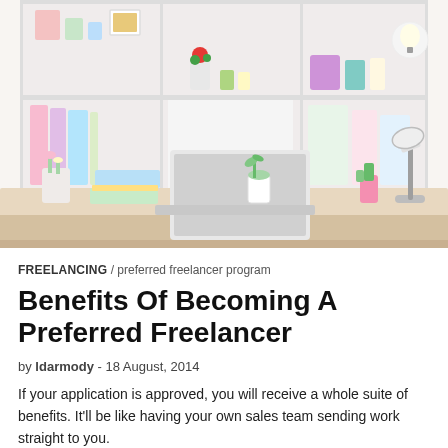[Figure (photo): A tidy home office desk scene with binders, a laptop, potted plants, colorful folders, a pink desk lamp, and white shelving unit filled with decorative items in the background.]
FREELANCING / preferred freelancer program
Benefits Of Becoming A Preferred Freelancer
by ldarmody - 18 August, 2014
If your application is approved, you will receive a whole suite of benefits. It'll be like having your own sales team sending work straight to you.